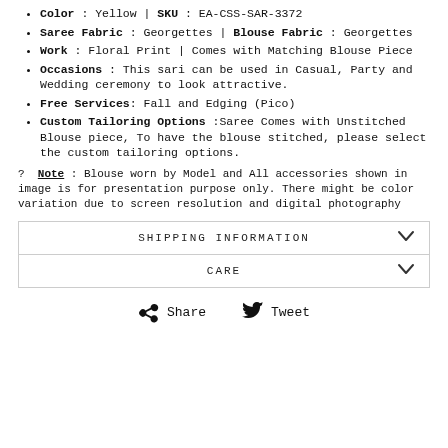Color : Yellow | SKU : EA-CSS-SAR-3372
Saree Fabric : Georgettes | Blouse Fabric : Georgettes
Work : Floral Print | Comes with Matching Blouse Piece
Occasions : This sari can be used in Casual, Party and Wedding ceremony to look attractive.
Free Services: Fall and Edging (Pico)
Custom Tailoring Options :Saree Comes with Unstitched Blouse piece, To have the blouse stitched, please select the custom tailoring options.
? Note : Blouse worn by Model and All accessories shown in image is for presentation purpose only. There might be color variation due to screen resolution and digital photography
SHIPPING INFORMATION
CARE
Share   Tweet